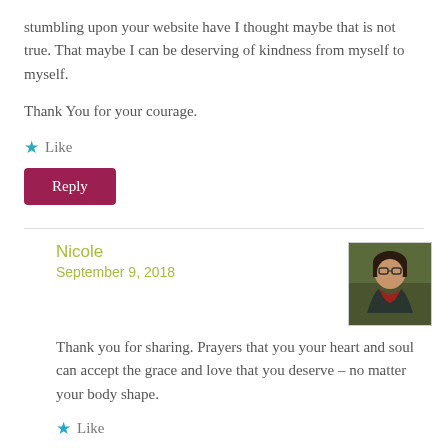stumbling upon your website have I thought maybe that is not true. That maybe I can be deserving of kindness from myself to myself.
Thank You for your courage.
Like
Reply
Nicole
September 9, 2018
[Figure (photo): Avatar photo of Nicole, a woman with glasses and dark hair wearing a dark jacket over a red shirt, photographed outdoors.]
Thank you for sharing. Prayers that you your heart and soul can accept the grace and love that you deserve – no matter your body shape.
Like
Reply